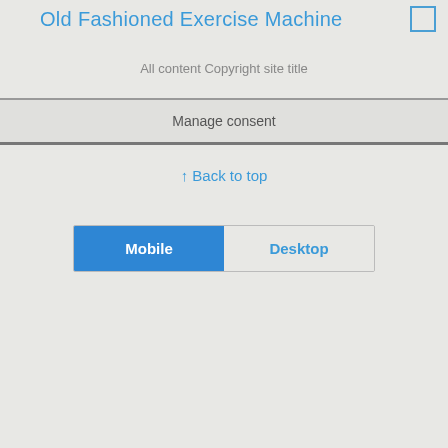Old Fashioned Exercise Machine
All content Copyright site title
Manage consent
↑ Back to top
Mobile  Desktop